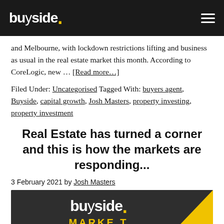buyside.
and Melbourne, with lockdown restrictions lifting and business as usual in the real estate market this month. According to CoreLogic, new … [Read more…]
Filed Under: Uncategorised Tagged With: buyers agent, Buyside, capital growth, Josh Masters, property investing, property investment
Real Estate has turned a corner and this is how the markets are responding...
3 February 2021 by Josh Masters
[Figure (logo): Buyside logo with 'buyside.' text in white and yellow dot, and 'MARKET' text in yellow below, on dark grey background]